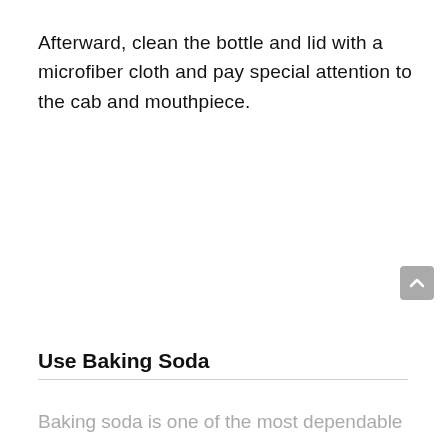Afterward, clean the bottle and lid with a microfiber cloth and pay special attention to the cab and mouthpiece.
Use Baking Soda
Baking soda is one of the most dependable